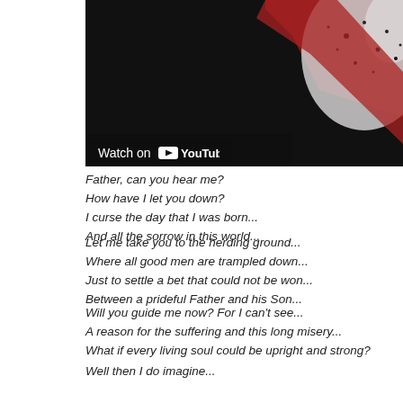[Figure (screenshot): YouTube video thumbnail showing 'Watch on YouTube' overlay with dark background and red/black/white splatter artwork]
Father, can you hear me?
How have I let you down?
I curse the day that I was born...
And all the sorrow in this world...
Let me take you to the herding ground...
Where all good men are trampled down...
Just to settle a bet that could not be won...
Between a prideful Father and his Son...
Will you guide me now? For I can't see...
A reason for the suffering and this long misery...
What if every living soul could be upright and strong?
Well then I do imagine...
There will be...
Sorrow...
Yeah, there will be...
Sorrow...
And there will be...
Sorrow, no more...
When all soldiers lay their weapons down...
And all kings and all Queens relinquish their...